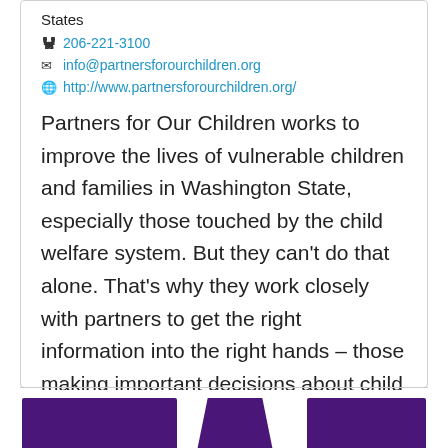States
206-221-3100
info@partnersforourchildren.org
http://www.partnersforourchildren.org/
Partners for Our Children works to improve the lives of vulnerable children and families in Washington State, especially those touched by the child welfare system. But they can't do that alone. That's why they work closely with partners to get the right information into the right hands – those making important decisions about child welfare practice and policy.
[Figure (illustration): Purple banner/decorative element at the bottom of the page showing three purple rectangular/trapezoid shapes]